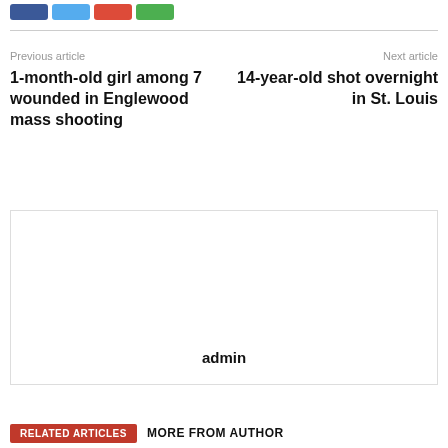[Figure (other): Social share buttons: Facebook (blue), Twitter (light blue), Google+ (red), WhatsApp (green)]
Previous article
1-month-old girl among 7 wounded in Englewood mass shooting
Next article
14-year-old shot overnight in St. Louis
admin
RELATED ARTICLES
MORE FROM AUTHOR